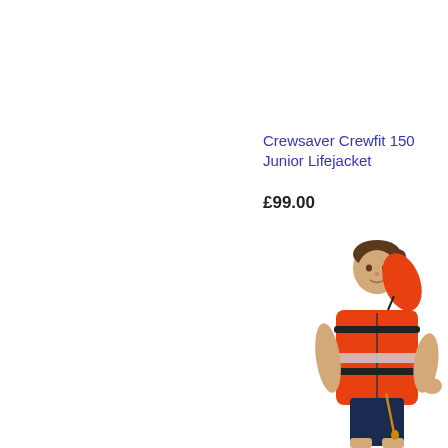Crewsaver Crewfit 150 Junior Lifejacket
£99.00
[Figure (photo): A child wearing an orange Crewsaver Crewfit 150 Junior Lifejacket with black buckles and a reflective patch, shown from the front/side. The lifejacket has an inflatable collar portion raised behind the head.]